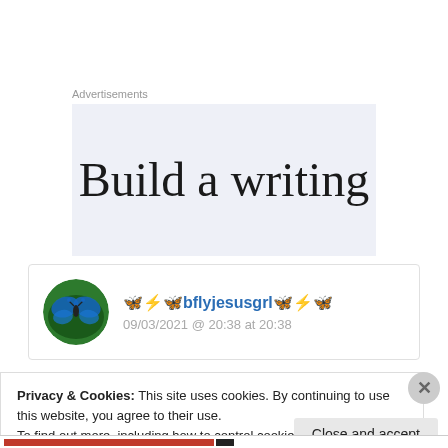Advertisements
[Figure (illustration): Advertisement banner with partial text 'Build a writing' on a light blue-gray background]
🦋⚡🦋bflyjesusgrl🦋⚡🦋
09/03/2021 @ 20:38 at 20:38
Privacy & Cookies: This site uses cookies. By continuing to use this website, you agree to their use.
To find out more, including how to control cookies, see here: Cookie Policy
Close and accept